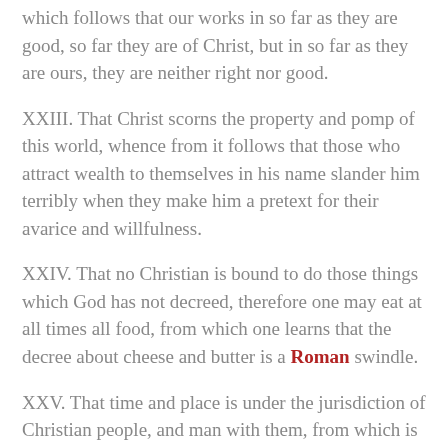which follows that our works in so far as they are good, so far they are of Christ, but in so far as they are ours, they are neither right nor good.
XXIII. That Christ scorns the property and pomp of this world, whence from it follows that those who attract wealth to themselves in his name slander him terribly when they make him a pretext for their avarice and willfulness.
XXIV. That no Christian is bound to do those things which God has not decreed, therefore one may eat at all times all food, from which one learns that the decree about cheese and butter is a Roman swindle.
XXV. That time and place is under the jurisdiction of Christian people, and man with them, from which is learned that those who fix time and place